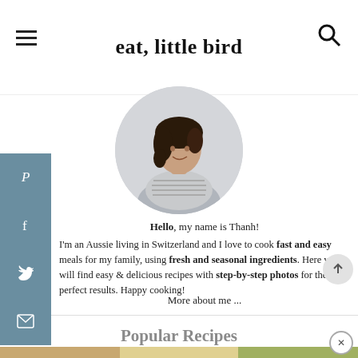eat, little bird
[Figure (photo): Circular profile photo of a woman with dark hair looking down, wearing a striped top, on a light grey background]
Hello, my name is Thanh! I'm an Aussie living in Switzerland and I love to cook fast and easy meals for my family, using fresh and seasonal ingredients. Here you will find easy & delicious recipes with step-by-step photos for the perfect results. Happy cooking!
More about me ...
Popular Recipes